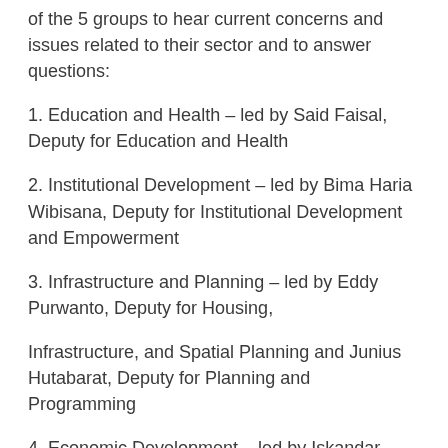of the 5 groups to hear current concerns and issues related to their sector and to answer questions:
1. Education and Health – led by Said Faisal, Deputy for Education and Health
2. Institutional Development – led by Bima Haria Wibisana, Deputy for Institutional Development and Empowerment
3. Infrastructure and Planning – led by Eddy Purwanto, Deputy for Housing,
Infrastructure, and Spatial Planning and Junius Hutabarat, Deputy for Planning and Programming
4. Economic Development – led by Iskandar, Deputy for Economic and Business Empowerment
5. Religion, Culture, and Women's Affairs – led by Fuad Mardhotillah, Deputy for Religious, Social, and Cultural